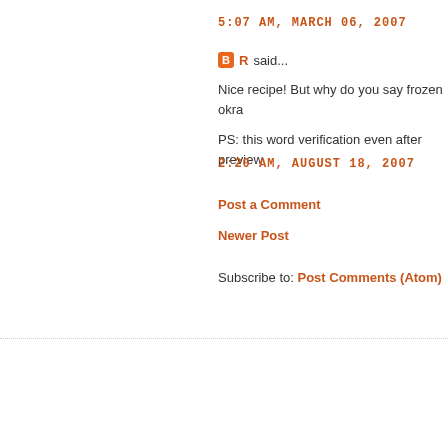5:07 AM, MARCH 06, 2007
R said...
Nice recipe! But why do you say frozen okra
PS: this word verification even after preview
2:20 AM, AUGUST 18, 2007
Post a Comment
Newer Post
Subscribe to: Post Comments (Atom)